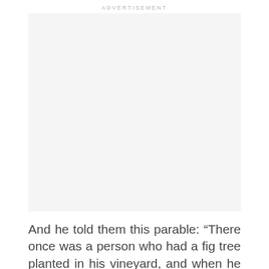ADVERTISEMENT
[Figure (other): Advertisement placeholder box with light gray background]
And he told them this parable: “There once was a person who had a fig tree planted in his vineyard, and when he came in search of fruit on it but found